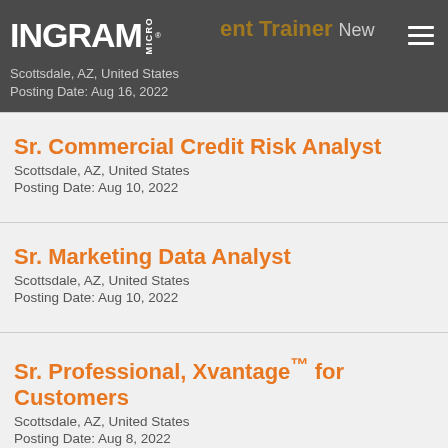Change Management Trainer New
Scottsdale, AZ, United States
Posting Date: Aug 16, 2022
Sr. Commercial Credit Risk Analyst
Scottsdale, AZ, United States
Posting Date: Aug 10, 2022
Sr. Marketing Data Analyst
Scottsdale, AZ, United States
Posting Date: Aug 10, 2022
Sr. Professional, Xvantage™ for Customers
Scottsdale, AZ, United States
Posting Date: Aug 8, 2022